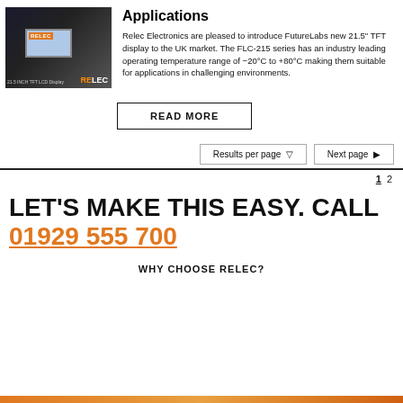[Figure (photo): Photo of Relec Electronics TFT LCD display product at an event, showing a screen with orange Relec logo badge]
Applications
Relec Electronics are pleased to introduce FutureLabs new 21.5" TFT display to the UK market. The FLC-215 series has an industry leading operating temperature range of -20°C to +80°C making them suitable for applications in challenging environments.
READ MORE
Results per page ▽
Next page ▶
1  2
LET'S MAKE THIS EASY. CALL 01929 555 700
WHY CHOOSE RELEC?